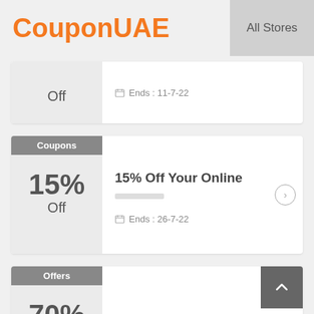CouponUAE   All Stores
Off   Ends: 11-7-22
Coupons   15% Off   15% Off Your Online [Purchase]   Ends: 26-7-22
Offers   70% Off   Flowers & Gifts Sale - Up To 70%   Ends: 10-5-22